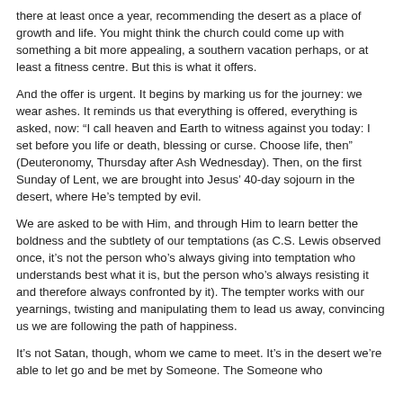there at least once a year, recommending the desert as a place of growth and life. You might think the church could come up with something a bit more appealing, a southern vacation perhaps, or at least a fitness centre. But this is what it offers.
And the offer is urgent. It begins by marking us for the journey: we wear ashes. It reminds us that everything is offered, everything is asked, now: “I call heaven and Earth to witness against you today: I set before you life or death, blessing or curse. Choose life, then” (Deuteronomy, Thursday after Ash Wednesday). Then, on the first Sunday of Lent, we are brought into Jesus’ 40-day sojourn in the desert, where He’s tempted by evil.
We are asked to be with Him, and through Him to learn better the boldness and the subtlety of our temptations (as C.S. Lewis observed once, it’s not the person who’s always giving into temptation who understands best what it is, but the person who’s always resisting it and therefore always confronted by it). The tempter works with our yearnings, twisting and manipulating them to lead us away, convincing us we are following the path of happiness.
It’s not Satan, though, whom we came to meet. It’s in the desert we’re able to let go and be met by Someone. The Someone who...